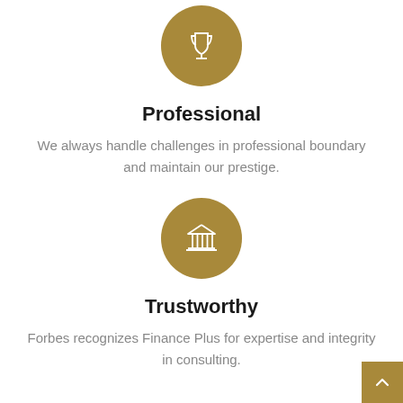[Figure (illustration): Gold circle with white trophy/award cup icon]
Professional
We always handle challenges in professional boundary and maintain our prestige.
[Figure (illustration): Gold circle with white building/institution (pillars) icon]
Trustworthy
Forbes recognizes Finance Plus for expertise and integrity in consulting.